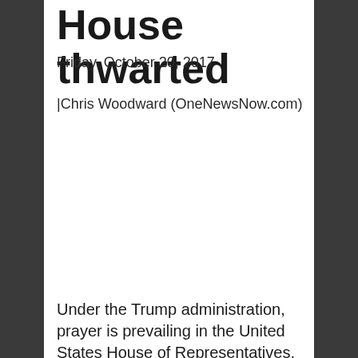House thwarted
Friday, October 20, 2017
|Chris Woodward (OneNewsNow.com)
Under the Trump administration, prayer is prevailing in the United States House of Representatives.